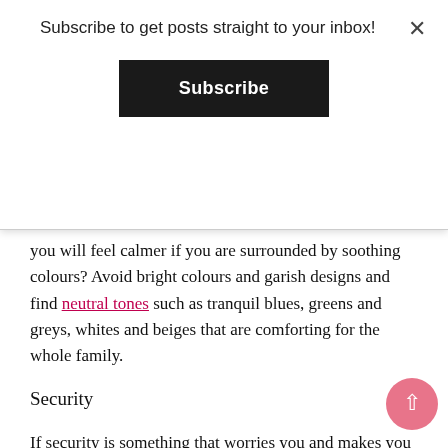Subscribe to get posts straight to your inbox!
Subscribe
you will feel calmer if you are surrounded by soothing colours? Avoid bright colours and garish designs and find neutral tones such as tranquil blues, greens and greys, whites and beiges that are comforting for the whole family.
Security
If security is something that worries you and makes you feel stressed, then that can be easily solved with security in your home. Something as simple as installing a video door entry system in your home can put your mind at rest while you're at home and while you're out. With the technology available